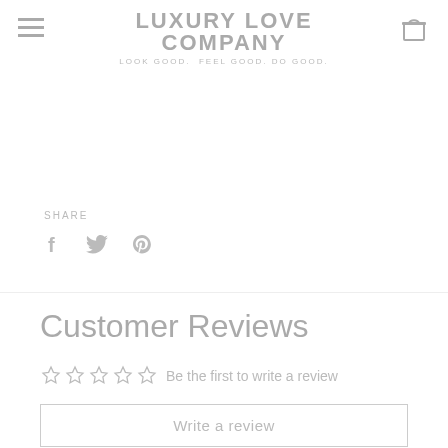LUXURY LOVE COMPANY — LOOK GOOD. FEEL GOOD. DO GOOD.
SHARE
[Figure (infographic): Social share icons: Facebook (f), Twitter (bird), Pinterest (P)]
Customer Reviews
☆☆☆☆☆  Be the first to write a review
Write a review